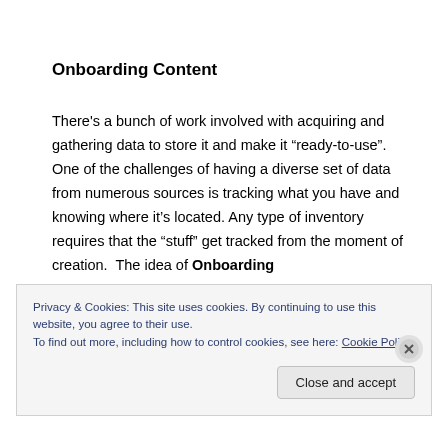Onboarding Content
There's a bunch of work involved with acquiring and gathering data to store it and make it “ready-to-use”.  One of the challenges of having a diverse set of data from numerous sources is tracking what you have and knowing where it’s located. Any type of inventory requires that the “stuff” get tracked from the moment of creation.  The idea of Onboarding
Privacy & Cookies: This site uses cookies. By continuing to use this website, you agree to their use.
To find out more, including how to control cookies, see here: Cookie Policy